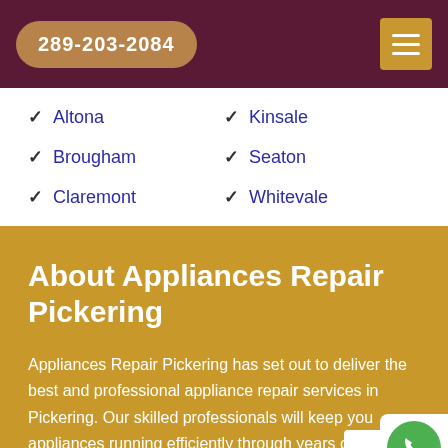289-203-2084
Altona
Kinsale
Brougham
Seaton
Claremont
Whitevale
About Appliances Repair Pickering
Appliances Repair Pickering has set out to deliver the best and professional appliance repair services in Pickering. Our skilled professionals will keep your appliances running efficiently through years of